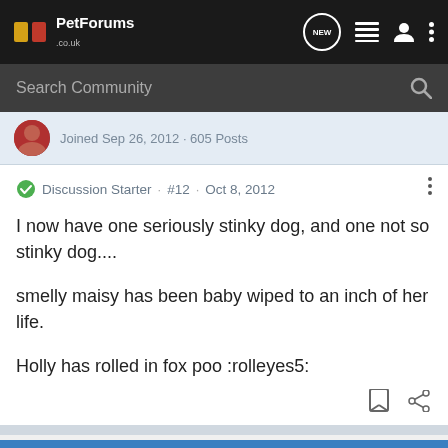PetForums .co.uk
Search Community
Joined Sep 26, 2012 · 605 Posts
Discussion Starter · #12 · Oct 8, 2012
I now have one seriously stinky dog, and one not so stinky dog....
smelly maisy has been baby wiped to an inch of her life.
Holly has rolled in fox poo :rolleyes5:
1 - 12 of 12 Posts